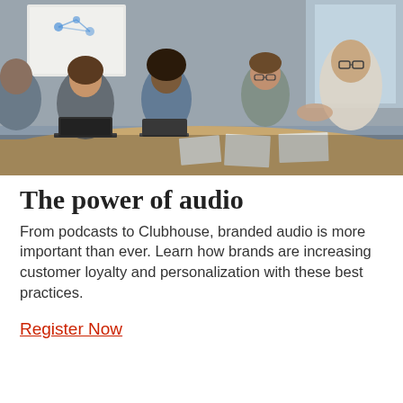[Figure (photo): Group of five people sitting around a conference table with laptops and papers, appearing to be in a meeting or workshop. A whiteboard with diagrams is visible in the background.]
The power of audio
From podcasts to Clubhouse, branded audio is more important than ever. Learn how brands are increasing customer loyalty and personalization with these best practices.
Register Now
Presented by Optum